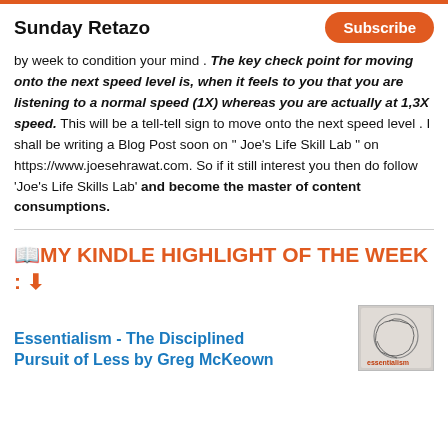Sunday Retazo | Subscribe
by week to condition your mind . The key check point for moving onto the next speed level is, when it feels to you that you are listening to a normal speed (1X) whereas you are actually at 1,3X speed. This will be a tell-tell sign to move onto the next speed level . I shall be writing a Blog Post soon on “ Joe’s Life Skill Lab ” on https://www.joesehrawat.com. So if it still interest you then do follow ‘Joe’s Life Skills Lab’ and become the master of content consumptions.
📖MY KINDLE HIGHLIGHT OF THE WEEK : ⬇
Essentialism - The Disciplined Pursuit of Less by Greg McKeown